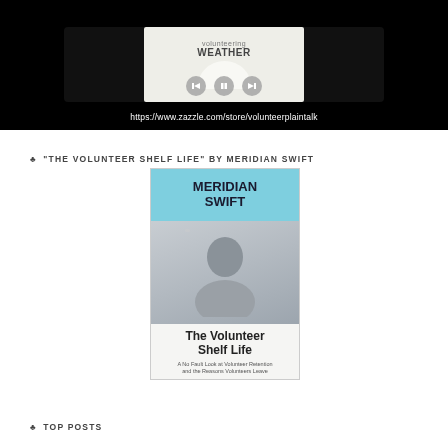[Figure (screenshot): Video player screenshot showing a mug with 'volunteering WEATHER' text, media controls (back, pause, forward), and a URL https://www.zazzle.com/store/volunteerplaintalk displayed below on a black background]
♣ "THE VOLUNTEER SHELF LIFE" BY MERIDIAN SWIFT
[Figure (photo): Book cover for 'The Volunteer Shelf Life' by Meridian Swift. Top section has light blue/teal background with 'MERIDIAN SWIFT' in bold dark text. Middle shows a photo of a person (author). Bottom shows title 'The Volunteer Shelf Life' with subtitle 'A No Fault Look at Volunteer Retention and the Reasons Volunteers Leave']
♣ TOP POSTS